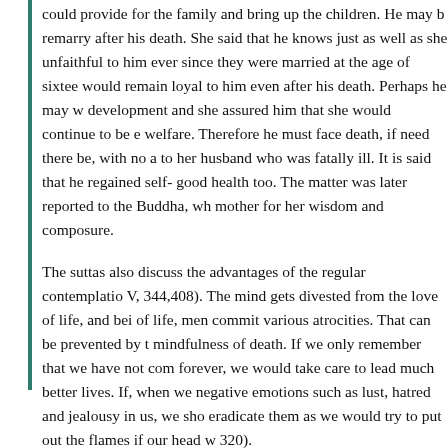could provide for the family and bring up the children. He may b... remarry after his death. She said that he knows just as well as she... unfaithful to him ever since they were married at the age of sixte... would remain loyal to him even after his death. Perhaps he may w... development and she assured him that she would continue to be e... welfare. Therefore he must face death, if need there be, with no a... to her husband who was fatally ill. It is said that he regained self-... good health too. The matter was later reported to the Buddha, wh... mother for her wisdom and composure.
The suttas also discuss the advantages of the regular contemplatio... V, 344,408). The mind gets divested from the love of life, and bei... of life, men commit various atrocities. That can be prevented by t... mindfulness of death. If we only remember that we have not com... forever, we would take care to lead much better lives. If, when w... negative emotions such as lust, hatred and jealousy in us, we sho... eradicate them as we would try to put out the flames if our head w... 320).
Thus the Buddhist texts tirelessly reiterate the positive benefits o... of the inevitability of death. It helps one to lead a more wholeso... the one and only certain event in life, with calm composure and f...
The Human Body [^]